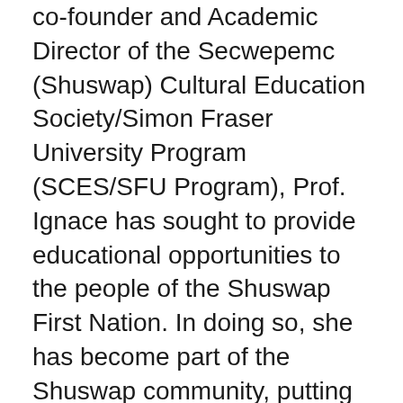co-founder and Academic Director of the Secwepemc (Shuswap) Cultural Education Society/Simon Fraser University Program (SCES/SFU Program), Prof. Ignace has sought to provide educational opportunities to the people of the Shuswap First Nation. In doing so, she has become part of the Shuswap community, putting her talents as a teacher and a researcher at the service of the people.
Prof. Ignace has worked with the Shuswap people, and other First Nations around British Columbia, to document aboriginal languages threatened with extinction. She has moved beyond mere documentation,